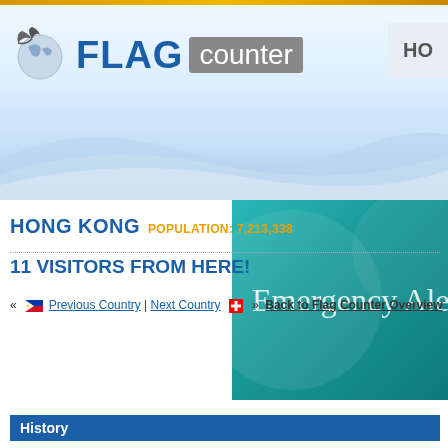[Figure (logo): Flag Counter logo with eagle/globe icon, text FLAG in blue bold and counter in grey box]
[Figure (infographic): Teal/green advertisement banner with text 'Emergency Alerts sa' partially visible]
HONG KONG POPULATION: 7,213,338
11 VISITORS FROM HERE!
« [Philippines flag] Previous Country | Next Country [Swiss flag] » Back to Flag Counter Overview
History